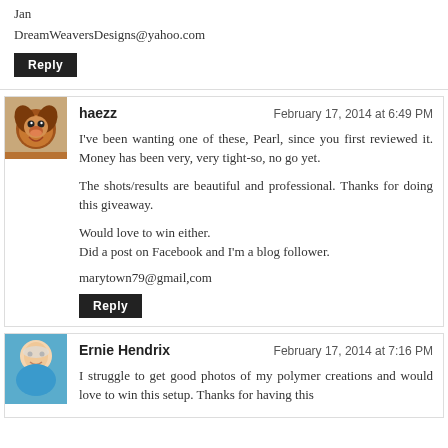Jan
DreamWeaversDesigns@yahoo.com
Reply
haezz — February 17, 2014 at 6:49 PM
I've been wanting one of these, Pearl, since you first reviewed it. Money has been very, very tight-so, no go yet.

The shots/results are beautiful and professional. Thanks for doing this giveaway.

Would love to win either.
Did a post on Facebook and I'm a blog follower.

marytown79@gmail,com
Reply
Ernie Hendrix — February 17, 2014 at 7:16 PM
I struggle to get good photos of my polymer creations and would love to win this setup. Thanks for having this